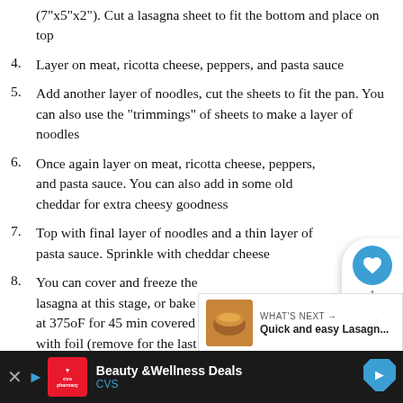(7"x5"x2"). Cut a lasagna sheet to fit the bottom and place on top
4. Layer on meat, ricotta cheese, peppers, and pasta sauce
5. Add another layer of noodles, cut the sheets to fit the pan. You can also use the "trimmings" of sheets to make a layer of noodles
6. Once again layer on meat, ricotta cheese, peppers, and pasta sauce. You can also add in some old cheddar for extra cheesy goodness
7. Top with final layer of noodles and a thin layer of pasta sauce. Sprinkle with cheddar cheese
8. You can cover and freeze the lasagna at this stage, or bake at 375oF for 45 min covered with foil (remove for the last 10 minutes of baking)